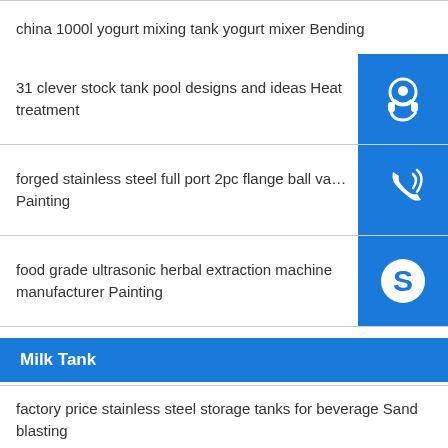china 1000l yogurt mixing tank yogurt mixer Bending
31 clever stock tank pool designs and ideas Heat treatment
forged stainless steel full port 2pc flange ball va… Painting
food grade ultrasonic herbal extraction machine manufacturer Painting
Milk Tank
factory price stainless steel storage tanks for beverage Sand blasting
…factory food tank 5000l …